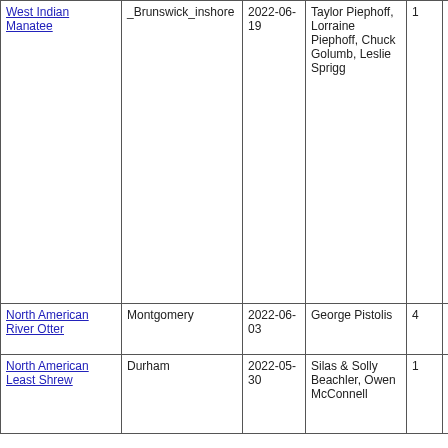| Species | Location | Date | Observer(s) | Count | Notes |
| --- | --- | --- | --- | --- | --- |
| West Indian Manatee | _Brunswick_inshore | 2022-06-19 | Taylor Piephoff, Lorraine Piephoff, Chuck Golumb, Leslie Sprigg | 1 | Massive swam by intracoastal waterway adjacent Island. Several times paused in shallow water examine vegetation. Continued. Not fins, paddle-like tail. This my third sighting of this species Brunswick since 1995. Sunset Beach NC (Brunswick County) |
| North American River Otter | Montgomery | 2022-06-03 | George Pistolis | 4 | Color dark, body long and a tail |
| North American Least Shrew | Durham | 2022-05-30 | Silas & Solly Beachler, Owen McConnell | 1 | The total the head body is 2 and the tail 1/2-inch |